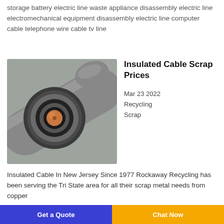storage battery electric line waste appliance disassembly electric line electromechanical equipment disassembly electric line computer cable telephone wire cable tv line
[Figure (photo): Cross-section of an insulated copper cable showing layers: outer grey jacket, black insulation, and central copper conductor core, lying on a concrete surface.]
Insulated Cable Scrap Prices
Mar 23 2022
Recycling
Scrap
Insulated Cable In New Jersey Since 1977 Rockaway Recycling has been serving the Tri State area for all their scrap metal needs from copper
Get a Quote   Chat Now